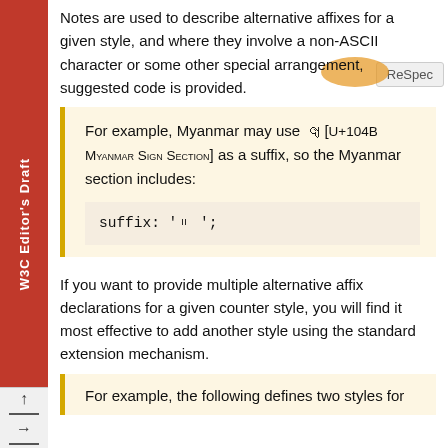W3C Editor's Draft
Notes are used to describe alternative affixes for a given style, and where they involve a non-ASCII character or some other special arrangement, suggested code is provided.
For example, Myanmar may use ၛ [U+104B MYANMAR SIGN SECTION] as a suffix, so the Myanmar section includes:
suffix: 'ၛ ';
If you want to provide multiple alternative affix declarations for a given counter style, you will find it most effective to add another style using the standard extension mechanism.
For example, the following defines two styles for